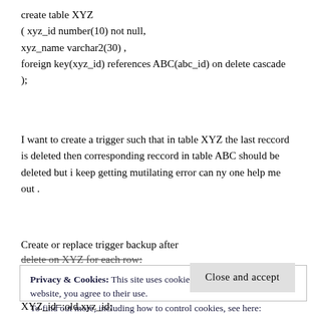create table XYZ
( xyz_id number(10) not null,
xyz_name varchar2(30) ,
foreign key(xyz_id) references ABC(abc_id) on delete cascade
);
I want to create a trigger such that in table XYZ the last reccord is deleted then corresponding reccord in table ABC should be deleted but i keep getting mutilating error can ny one help me out .
Create or replace trigger backup after
delete on XYZ for each row:
Privacy & Cookies: This site uses cookies. By continuing to use this website, you agree to their use.
To find out more, including how to control cookies, see here:
Cookie Policy
Close and accept
XYZ_id=:old.xyz_id;